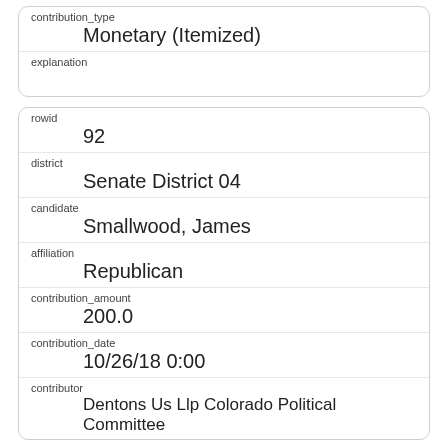| contribution_type | Monetary (Itemized) |
| explanation |  |
| rowid | 92 |
| district | Senate District 04 |
| candidate | Smallwood, James |
| affiliation | Republican |
| contribution_amount | 200.0 |
| contribution_date | 10/26/18 0:00 |
| contributor | Dentons Us Llp Colorado Political Committee |